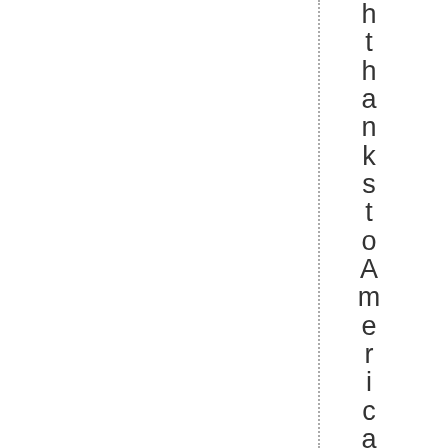hthankstoAmerica, sboomingecono